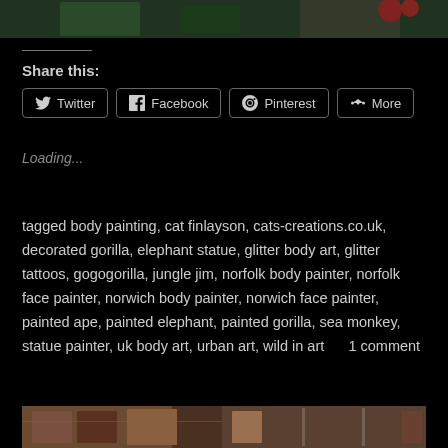[Figure (photo): Top portion of an outdoor photo with green foliage and dark background]
Share this:
Twitter  Facebook  Pinterest  More
Loading...
tagged body painting, cat finlayson, cats-creations.co.uk, decorated gorilla, elephant statue, glitter body art, glitter tattoos, gogogorilla, jungle jim, norfolk body painter, norfolk face painter, norwich body painter, norwich face painter, painted ape, painted elephant, painted gorilla, sea monkey, statue painter, uk body art, urban art, wild in art    1 comment
[Figure (photo): Bottom portion of an outdoor photo showing brick wall and windows]